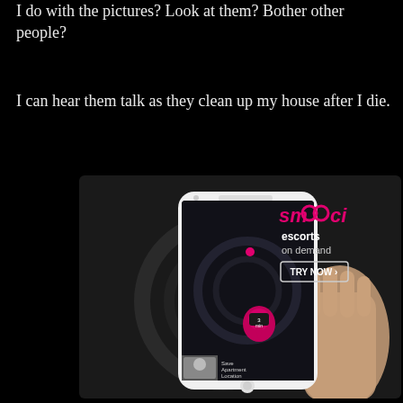I do with the pictures? Look at them? Bother other people?
I can hear them talk as they clean up my house after I die.
[Figure (screenshot): Advertisement for 'smooci' escorts on demand app, showing a hand holding a smartphone with a dark map interface, pink location pin, and profile image. Text reads 'smooci escorts on demand' with a 'TRY NOW >' button.]